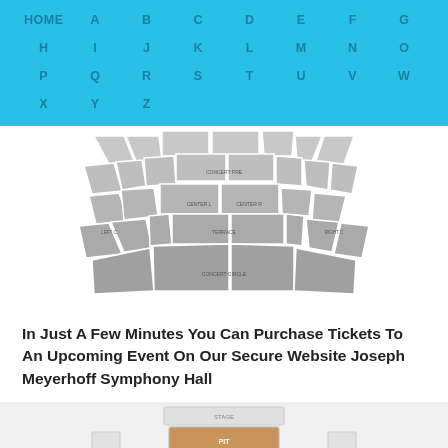HOME A B C D E F G H I J K L M N O P Q R S T U V W X Y Z
[Figure (illustration): Top seating chart of Joseph Meyerhoff Symphony Hall showing fan-shaped auditorium sections in gray]
In Just A Few Minutes You Can Purchase Tickets To An Upcoming Event On Our Secure Website Joseph Meyerhoff Symphony Hall
[Figure (illustration): Bottom seating chart showing stage area and lower sections with an orange highlighted section labeled 'PIT']